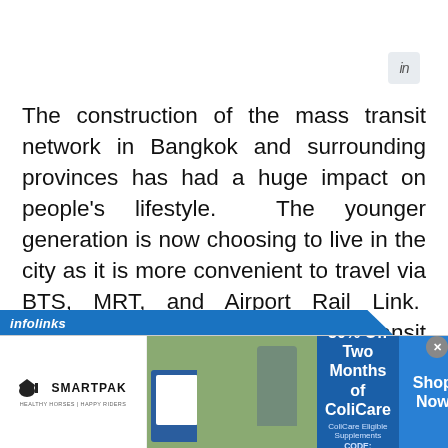[Figure (logo): LinkedIn icon button in top right area]
The construction of the mass transit network in Bangkok and surrounding provinces has had a huge impact on people’s lifestyle.  The younger generation is now choosing to live in the city as it is more convenient to travel via BTS, MRT, and Airport Rail Link.  Locations next to the mass transit stations are becoming one of the key factors that determine where people buy or invest in property.
[Figure (screenshot): Infolinks advertisement bar and SmartPak banner ad at bottom of page showing 50% Off Two Months of ColiCare promotion with CODE: COLICARE10]